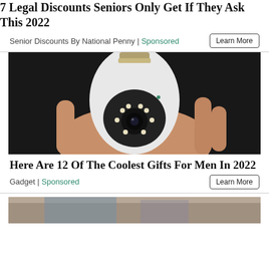7 Legal Discounts Seniors Only Get If They Ask This 2022
Senior Discounts By National Penny | Sponsored
[Figure (photo): A hand holding a white security camera shaped like a light bulb with an E27 screw base and LED ring, against a dark background]
Here Are 12 Of The Coolest Gifts For Men In 2022
Gadget | Sponsored
[Figure (photo): Partial view of a person, bottom of page]